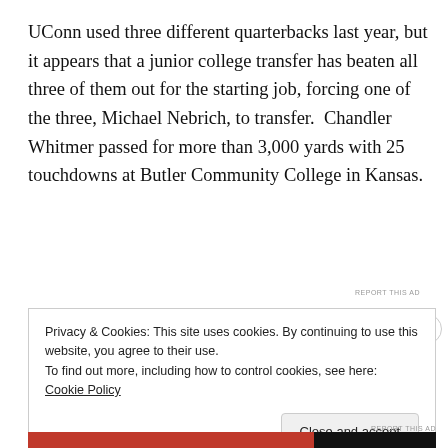UConn used three different quarterbacks last year, but it appears that a junior college transfer has beaten all three of them out for the starting job, forcing one of the three, Michael Nebrich, to transfer.  Chandler Whitmer passed for more than 3,000 yards with 25 touchdowns at Butler Community College in Kansas.
[Figure (other): Advertisement banner showing partial logo and text 'same page is easy. And free.']
REPORT THIS AD
Privacy & Cookies: This site uses cookies. By continuing to use this website, you agree to their use.
To find out more, including how to control cookies, see here: Cookie Policy
Close and accept